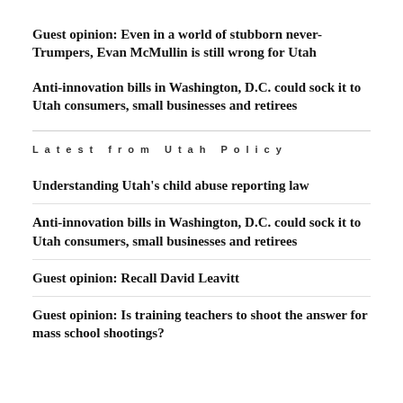Guest opinion: Even in a world of stubborn never-Trumpers, Evan McMullin is still wrong for Utah
Anti-innovation bills in Washington, D.C. could sock it to Utah consumers, small businesses and retirees
Latest from Utah Policy
Understanding Utah’s child abuse reporting law
Anti-innovation bills in Washington, D.C. could sock it to Utah consumers, small businesses and retirees
Guest opinion: Recall David Leavitt
Guest opinion: Is training teachers to shoot the answer for mass school shootings?